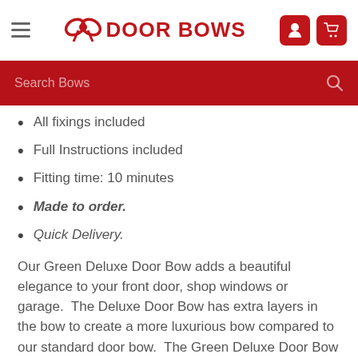DOOR BOWS
All fixings included
Full Instructions included
Fitting time: 10 minutes
Made to order.
Quick Delivery.
Our Green Deluxe Door Bow adds a beautiful elegance to your front door, shop windows or garage.  The Deluxe Door Bow has extra layers in the bow to create a more luxurious bow compared to our standard door bow.  The Green Deluxe Door Bow is approximately 50cm wide, and the wings are